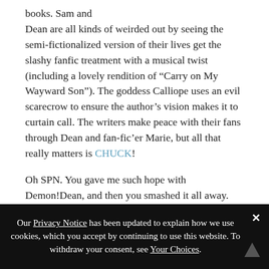books. Sam and Dean are all kinds of weirded out by seeing the semi-fictionalized version of their lives get the slashy fanfic treatment with a musical twist (including a lovely rendition of “Carry on My Wayward Son”). The goddess Calliope uses an evil scarecrow to ensure the author’s vision makes it to curtain call. The writers make peace with their fans through Dean and fan-fic’er Marie, but all that really matters is CHUCK!
Oh SPN. You gave me such hope with Demon!Dean, and then you smashed it all away. And then with your 200th episode, you made me love you all over again. Between episodes 2 through 5 I laughed, cried, rolled
Our Privacy Notice has been updated to explain how we use cookies, which you accept by continuing to use this website. To withdraw your consent, see Your Choices.